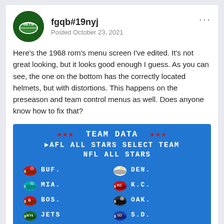fgqb#19nyj
Posted October 23, 2021
Here's the 1968 rom's menu screen I've edited. It's not great looking, but it looks good enough I guess. As you can see, the one on the bottom has the correctly located helmets, but with distortions. This happens on the preseason and team control menus as well. Does anyone know how to fix that?
[Figure (screenshot): Retro video game screenshot showing a blue 'TEAM DATA' menu screen with AFL ALL STARS SELECT TEAM and NFL ALL STARS options, followed by a grid of team helmets and abbreviations: BUF., DEN., MIA., K.C., BOS., OAK., JETS, S.D., and partially visible bottom row]